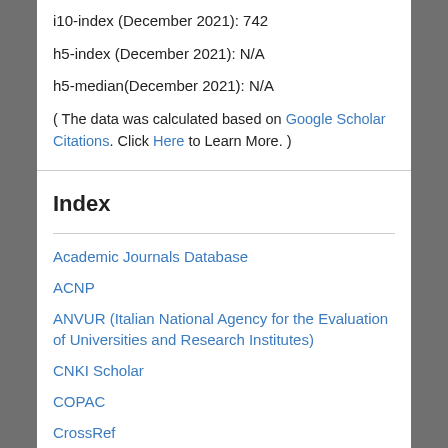i10-index (December 2021): 742
h5-index (December 2021): N/A
h5-median(December 2021): N/A
( The data was calculated based on Google Scholar Citations. Click Here to Learn More. )
Index
Academic Journals Database
ACNP
ANVUR (Italian National Agency for the Evaluation of Universities and Research Institutes)
CNKI Scholar
COPAC
CrossRef
EBSCOhost
EconBiz
ECONIS